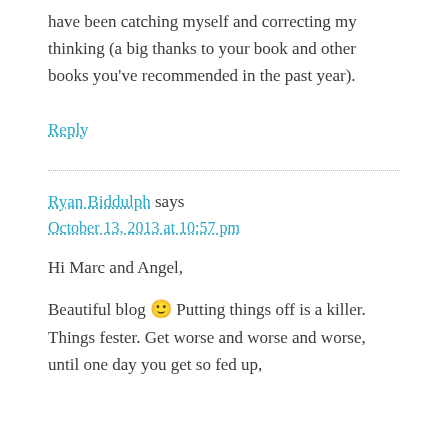have been catching myself and correcting my thinking (a big thanks to your book and other books you've recommended in the past year).
Reply
Ryan Biddulph says
October 13, 2013 at 10:57 pm
Hi Marc and Angel,
Beautiful blog 🙂 Putting things off is a killer. Things fester. Get worse and worse and worse, until one day you get so fed up,